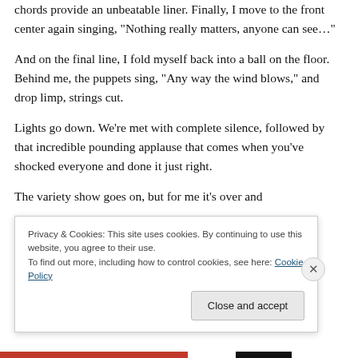chords provide an unbeatable liner. Finally, I move to the front center again singing, “Nothing really matters, anyone can see…”
And on the final line, I fold myself back into a ball on the floor. Behind me, the puppets sing, “Any way the wind blows,” and drop limp, strings cut.
Lights go down. We’re met with complete silence, followed by that incredible pounding applause that comes when you’ve shocked everyone and done it just right.
The variety show goes on, but for me it’s over and
Privacy & Cookies: This site uses cookies. By continuing to use this website, you agree to their use.
To find out more, including how to control cookies, see here: Cookie Policy